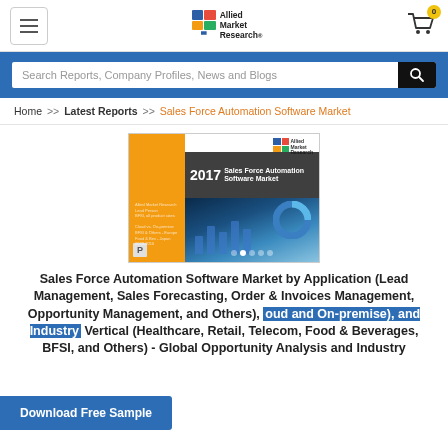Allied Market Research — navigation header with search bar
Home >> Latest Reports >> Sales Force Automation Software Market
[Figure (photo): Cover image of the 2017 Sales Force Automation Software Market report by Allied Market Research, showing orange and dark bands with report title and blue bar chart background]
Sales Force Automation Software Market by Application (Lead Management, Sales Forecasting, Order & Invoices Management, Opportunity Management, and Others), Cloud and On-premise), and Industry Vertical (Healthcare, Retail, Telecom, Food & Beverages, BFSI, and Others) - Global Opportunity Analysis and Industry